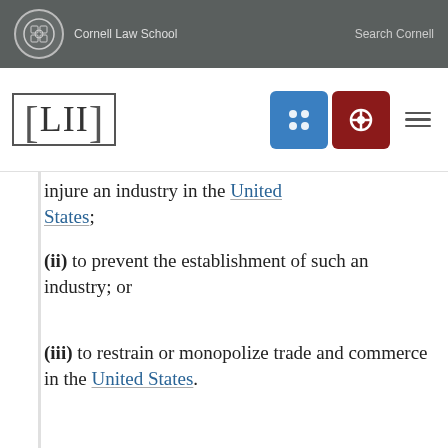Cornell Law School   Search Cornell
[Figure (logo): LII Legal Information Institute logo with Cornell seal and navigation icons]
injure an industry in the United States;
(ii) to prevent the establishment of such an industry; or
(iii) to restrain or monopolize trade and commerce in the United States.
(B) The importation into the United States, the sale for importation, or the sale within the United States after importation by the...